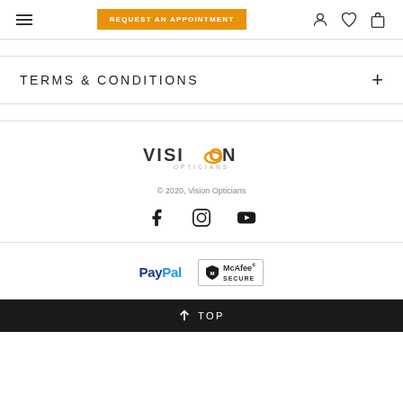REQUEST AN APPOINTMENT
TERMS & CONDITIONS
[Figure (logo): Vision Opticians logo with orange oval in letter O]
© 2020, Vision Opticians
[Figure (infographic): Social media icons: Facebook, Instagram, YouTube]
[Figure (logo): PayPal logo and McAfee SECURE badge]
↑ TOP